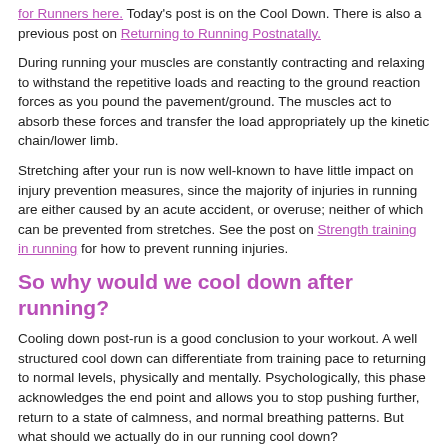for Runners here. Today's post is on the Cool Down. There is also a previous post on Returning to Running Postnatally.
During running your muscles are constantly contracting and relaxing to withstand the repetitive loads and reacting to the ground reaction forces as you pound the pavement/ground. The muscles act to absorb these forces and transfer the load appropriately up the kinetic chain/lower limb.
Stretching after your run is now well-known to have little impact on injury prevention measures, since the majority of injuries in running are either caused by an acute accident, or overuse; neither of which can be prevented from stretches. See the post on Strength training in running for how to prevent running injuries.
So why would we cool down after running?
Cooling down post-run is a good conclusion to your workout. A well structured cool down can differentiate from training pace to returning to normal levels, physically and mentally. Psychologically, this phase acknowledges the end point and allows you to stop pushing further, return to a state of calmness, and normal breathing patterns. But what should we actually do in our running cool down?
The process of completing stretches post-run can relieve